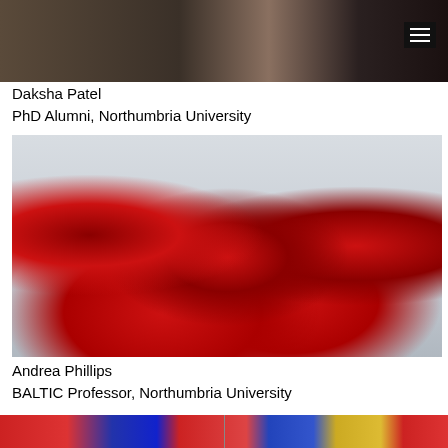[Figure (photo): Partial view of people around a table, dark background, top navigation photo strip]
Daksha Patel
PhD Alumni, Northumbria University
[Figure (photo): Group of people wearing red and black uniforms seated and standing around a long table in a large studio/gallery space]
Andrea Phillips
BALTIC Professor, Northumbria University
[Figure (photo): Partial bottom strip showing colorful image, split into two sections]